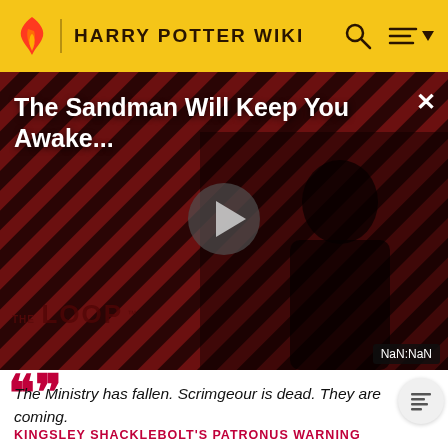HARRY POTTER WIKI
[Figure (screenshot): Video player thumbnail showing 'The Sandman Will Keep You Awake...' promo with a dark-robed figure against diagonal red and dark striped background. Play button in center. THE LOOP logo bottom left. NaN:NaN timestamp badge bottom right. Close X button top right.]
The Ministry has fallen. Scrimgeour is dead. They are coming.
KINGSLEY SHACKLEBOLT'S PATRONUS WARNING